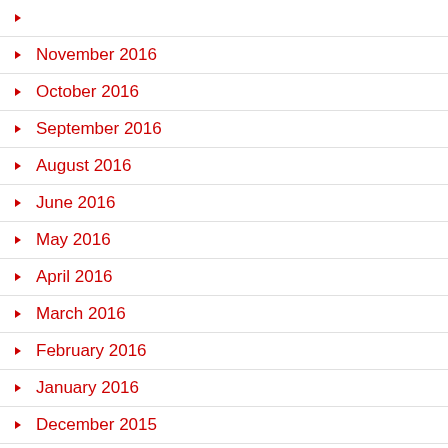November 2016
October 2016
September 2016
August 2016
June 2016
May 2016
April 2016
March 2016
February 2016
January 2016
December 2015
November 2015
August 2015